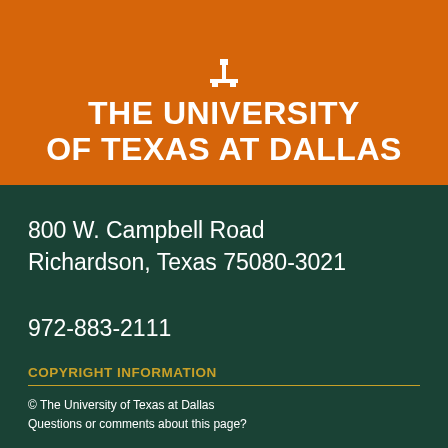[Figure (logo): University of Texas at Dallas logo/icon (tower silhouette in white) on orange background]
THE UNIVERSITY OF TEXAS AT DALLAS
800 W. Campbell Road
Richardson, Texas 75080-3021
972-883-2111
COPYRIGHT INFORMATION
© The University of Texas at Dallas
Questions or comments about this page?